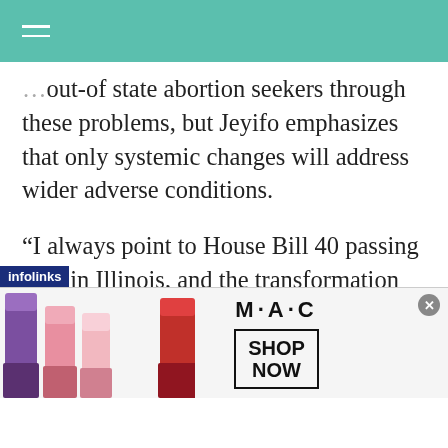…out-of state abortion seekers through these problems, but Jeyifo emphasizes that only systemic changes will address wider adverse conditions.
“I always point to House Bill 40 passing here in Illinois, and the transformation that that created for the people,” she says. “[HB 40]This is what made Medicare mandatory to
[Figure (screenshot): MAC Cosmetics advertisement banner with lipsticks on the left, M·A·C logo in the center, and a SHOP NOW button box on the right. An infolinks label appears at the top-left of the ad.]